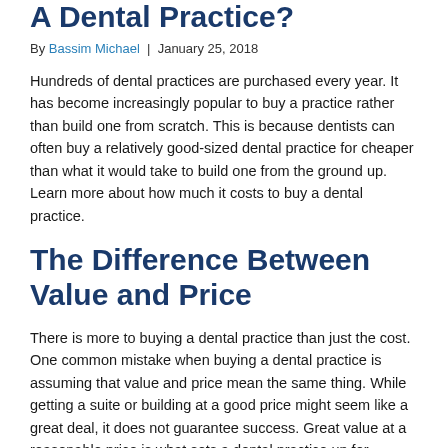A Dental Practice?
By Bassim Michael | January 25, 2018
Hundreds of dental practices are purchased every year. It has become increasingly popular to buy a practice rather than build one from scratch. This is because dentists can often buy a relatively good-sized dental practice for cheaper than what it would take to build one from the ground up. Learn more about how much it costs to buy a dental practice.
The Difference Between Value and Price
There is more to buying a dental practice than just the cost. One common mistake when buying a dental practice is assuming that value and price mean the same thing. While getting a suite or building at a good price might seem like a great deal, it does not guarantee success. Great value at a reasonable price is what sets a dental practice up for success. Knowing the difference between value and price can help you